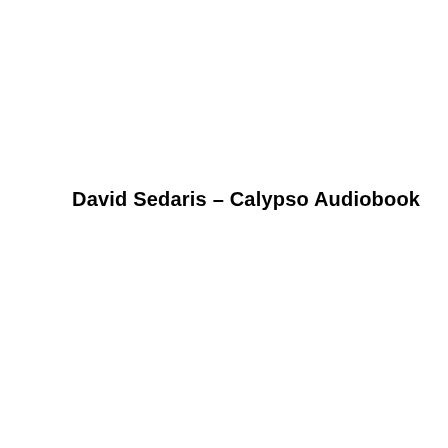David Sedaris – Calypso Audiobook